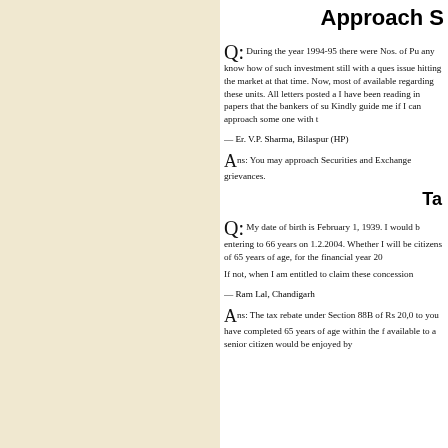Approach S
Q: During the year 1994-95 there were Nos. of Pu... any know how of such investment still with a ques... issue hitting the market at that time. Now, most of... available regarding these units. All letters posted a... I have been reading in papers that the bankers of su... Kindly guide me if I can approach some one with t...
— Er. V.P. Sharma, Bilaspur (HP)
Ans: You may approach Securities and Exchange ... grievances.
Ta
Q: My date of birth is February 1, 1939. I would b... entering to 66 years on 1.2.2004. Whether I will be... citizens of 65 years of age, for the financial year 20...
If not, when I am entitled to claim these concession...
— Ram Lal, Chandigarh
Ans: The tax rebate under Section 88B of Rs 20,0... to you have completed 65 years of age within the f... available to a senior citizen would be enjoyed by...